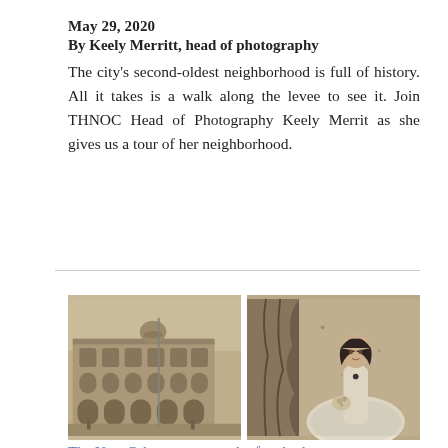May 29, 2020
By Keely Merritt, head of photography
The city's second-oldest neighborhood is full of history. All it takes is a walk along the levee to see it. Join THNOC Head of Photography Keely Merrit as she gives us a tour of her neighborhood.
[Figure (photo): Two side-by-side vintage sepia photographs. Left: an old multi-story building with arched windows and a street scene (New Orleans architecture). Right: a Victorian-era portrait of a woman in a white dress with a brooch, holding flowers, posed in front of a draped curtain.]
The New Orleans woman who fought the